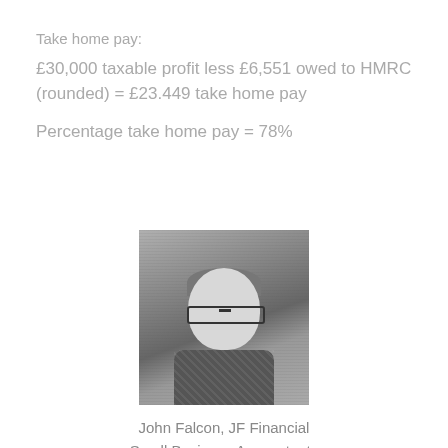Take home pay:
£30,000 taxable profit less £6,551 owed to HMRC (rounded) = £23.449 take home pay
Percentage take home pay = 78%
[Figure (photo): Black and white headshot of John Falcon, a man wearing glasses against a brick wall background]
John Falcon, JF Financial
Small Business Accountants
Contact John